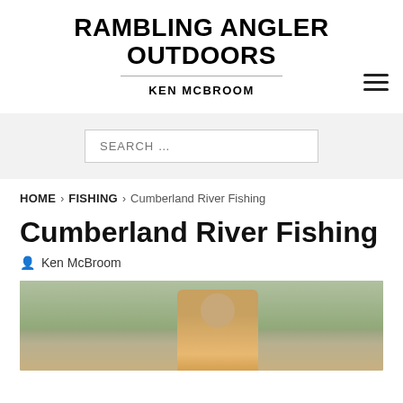RAMBLING ANGLER OUTDOORS
KEN MCBROOM
SEARCH …
HOME > FISHING > Cumberland River Fishing
Cumberland River Fishing
Ken McBroom
[Figure (photo): Outdoor photo of a man wearing sunglasses and a yellow shirt with trees in the background]